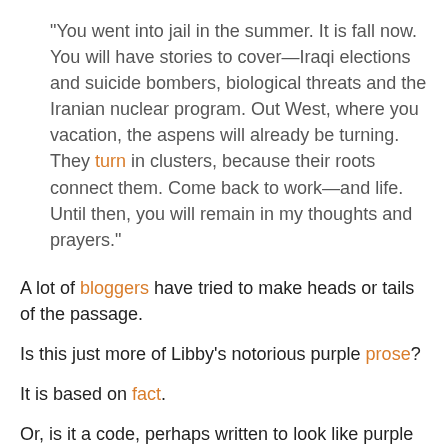"You went into jail in the summer. It is fall now. You will have stories to cover—Iraqi elections and suicide bombers, biological threats and the Iranian nuclear program. Out West, where you vacation, the aspens will already be turning. They turn in clusters, because their roots connect them. Come back to work—and life. Until then, you will remain in my thoughts and prayers."
A lot of bloggers have tried to make heads or tails of the passage.
Is this just more of Libby's notorious purple prose?
It is based on fact.
Or, is it a code, perhaps written to look like purple prose?
As Robert Novak, of all people, reported on September 22, a bunch of rich conservatives recently gathered in Aspen, Colorado, to talk policy...and bash President Bush!